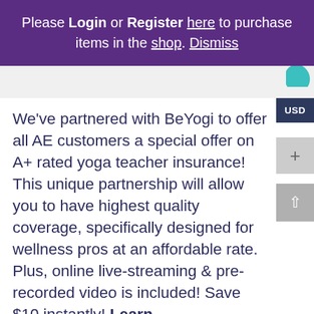Please Login or Register here to purchase items in the shop. Dismiss
[Figure (logo): Partial teal/green logo shape visible in upper right of content area]
We've partnered with BeYogi to offer all AE customers a special offer on A+ rated yoga teacher insurance! This unique partnership will allow you to have highest quality coverage, specifically designed for wellness pros at an affordable rate. Plus, online live-streaming & pre-recorded video is included! Save $10 instantly! Learn